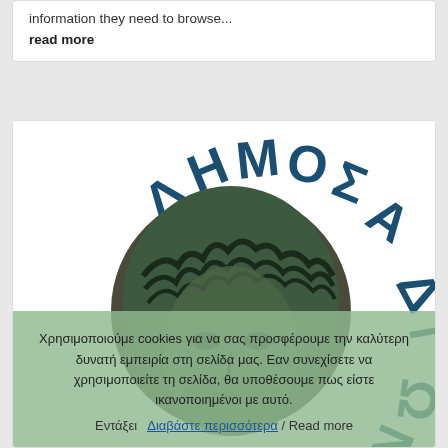information they need to browse...
read more
[Figure (logo): Circular logo of Dimos (Municipality) featuring a classical Greek sculpted face in the center, surrounded by Greek text 'ΔΗΜΟΣ Α' at top and 'ΔΙΩΝ' at right, in dark teal/blue color on white background]
Χρησιμοποιούμε cookies για να σας προσφέρουμε την καλύτερη δυνατή εμπειρία στη σελίδα μας. Εαν συνεχίσετε να χρησιμοποιείτε τη σελίδα, θα υποθέσουμε πως είστε ικανοποιημένοι με αυτό.
Εντάξει  Διαβάστε περισσότερα / Read more